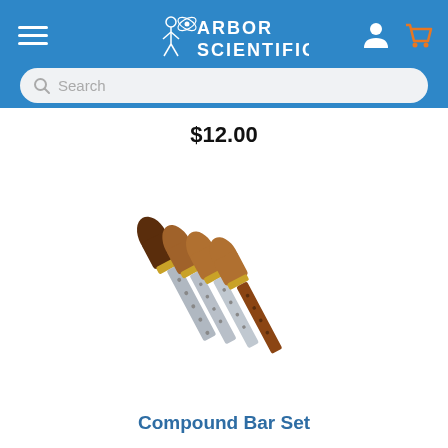Arbor Scientific
$12.00
[Figure (photo): Four compound bar sets (bimetallic strips) with wooden handles in tan and dark brown, and metal bars made of two different metals, arranged in a fanned-out diagonal pattern.]
Compound Bar Set